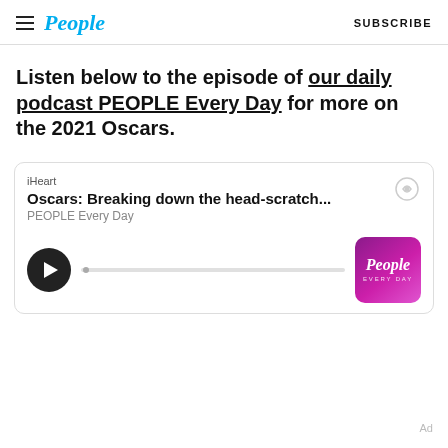People  SUBSCRIBE
Listen below to the episode of our daily podcast PEOPLE Every Day for more on the 2021 Oscars.
[Figure (screenshot): iHeart podcast player widget showing 'Oscars: Breaking down the head-scratch...' episode from PEOPLE Every Day, with play button and progress bar, and People Every Day thumbnail logo.]